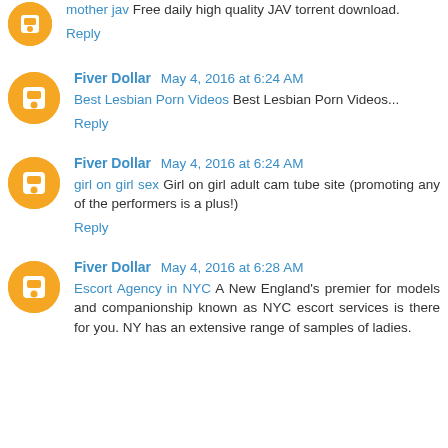mother jav Free daily high quality JAV torrent download.
Reply
Fiver Dollar May 4, 2016 at 6:24 AM
Best Lesbian Porn Videos Best Lesbian Porn Videos...
Reply
Fiver Dollar May 4, 2016 at 6:24 AM
girl on girl sex Girl on girl adult cam tube site (promoting any of the performers is a plus!)
Reply
Fiver Dollar May 4, 2016 at 6:28 AM
Escort Agency in NYC A New England's premier for models and companionship known as NYC escort services is there for you. NY has an extensive range of samples of ladies.